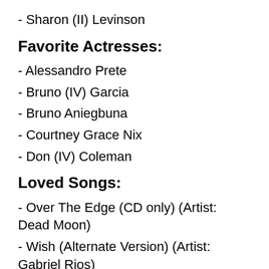- Sharon (II) Levinson
Favorite Actresses:
- Alessandro Prete
- Bruno (IV) Garcia
- Bruno Aniegbuna
- Courtney Grace Nix
- Don (IV) Coleman
Loved Songs:
- Over The Edge (CD only) (Artist: Dead Moon)
- Wish (Alternate Version) (Artist: Gabriel Rios)